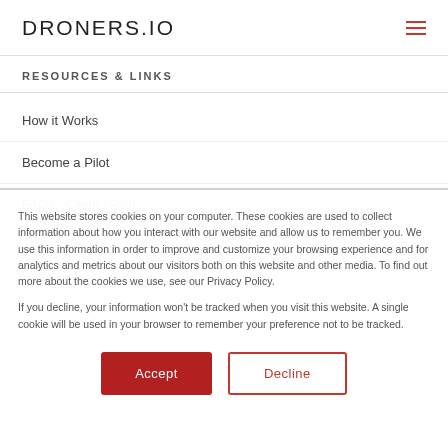DRONERS.IO
RESOURCES & LINKS
How it Works
Become a Pilot
FAQs - Client / Pilot
This website stores cookies on your computer. These cookies are used to collect information about how you interact with our website and allow us to remember you. We use this information in order to improve and customize your browsing experience and for analytics and metrics about our visitors both on this website and other media. To find out more about the cookies we use, see our Privacy Policy.
If you decline, your information won't be tracked when you visit this website. A single cookie will be used in your browser to remember your preference not to be tracked.
Accept | Decline